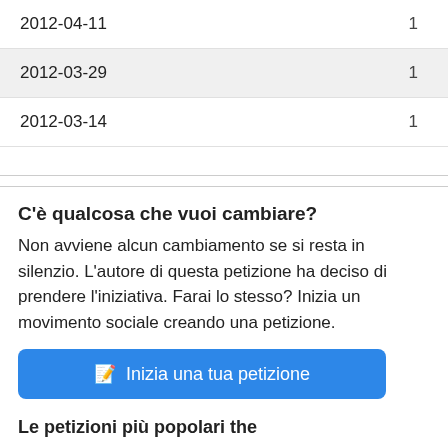| Date | Count |
| --- | --- |
| 2012-04-11 | 1 |
| 2012-03-29 | 1 |
| 2012-03-14 | 1 |
C'è qualcosa che vuoi cambiare?
Non avviene alcun cambiamento se si resta in silenzio. L'autore di questa petizione ha deciso di prendere l'iniziativa. Farai lo stesso? Inizia un movimento sociale creando una petizione.
Inizia una tua petizione
Le petizioni più popolari the